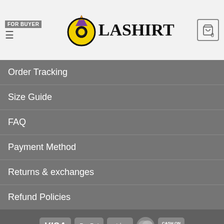FOR BUYER | OLASHIRT | Cart: 0
Order Tracking
Size Guide
FAQ
Payment Method
Returns & exchanges
Refund Policies
Payment methods: VISA, PayPal, stripe, Mastercard, CASH ON DELIVERY